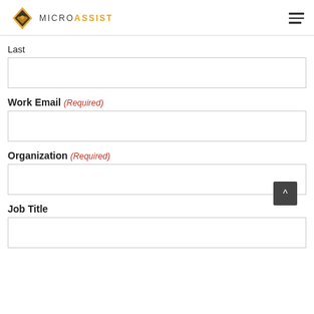MICROASSIST
Last
Work Email (Required)
Organization (Required)
Job Title